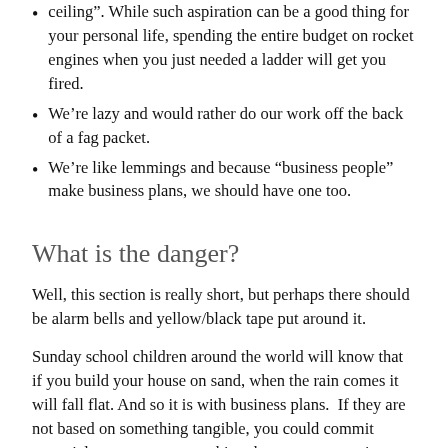ceiling".  While such aspiration can be a good thing for your personal life, spending the entire budget on rocket engines when you just needed a ladder will get you fired.
We’re lazy and would rather do our work off the back of a fag packet.
We’re like lemmings and because “business people” make business plans, we should have one too.
What is the danger?
Well, this section is really short, but perhaps there should be alarm bells and yellow/black tape put around it.
Sunday school children around the world will know that if you build your house on sand, when the rain comes it will fall flat. And so it is with business plans.  If they are not based on something tangible, you could commit essential resources to something that was never going